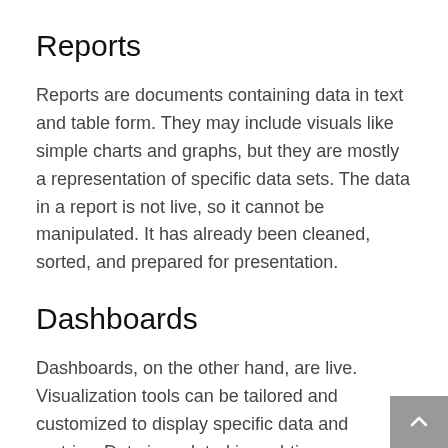Reports
Reports are documents containing data in text and table form. They may include visuals like simple charts and graphs, but they are mostly a representation of specific data sets. The data in a report is not live, so it cannot be manipulated. It has already been cleaned, sorted, and prepared for presentation.
Dashboards
Dashboards, on the other hand, are live. Visualization tools can be tailored and customized to display specific data and metrics. Data is updated in real-time, so visuals can change from minute to minute. Dashboards can be broad and multi-faceted for departments with many…